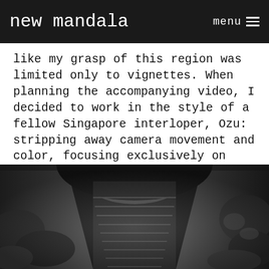new mandala   menu
like my grasp of this region was limited only to vignettes. When planning the accompanying video, I decided to work in the style of a fellow Singapore interloper, Ozu: stripping away camera movement and color, focusing exclusively on formalist and center-heavy framing, using low tripod positions.
[Figure (photo): Black and white photograph taken from inside a dark tunnel or archway looking up a long stone staircase flanked by moss-covered walls and lush tropical foliage, with light at the top of the stairs.]